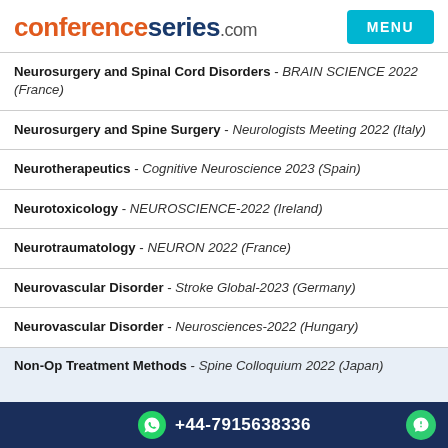conferenceseries.com  MENU
Neurosurgery and Spinal Cord Disorders - BRAIN SCIENCE 2022 (France)
Neurosurgery and Spine Surgery - Neurologists Meeting 2022 (Italy)
Neurotherapeutics - Cognitive Neuroscience 2023 (Spain)
Neurotoxicology - NEUROSCIENCE-2022 (Ireland)
Neurotraumatology - NEURON 2022 (France)
Neurovascular Disorder - Stroke Global-2023 (Germany)
Neurovascular Disorder - Neurosciences-2022 (Hungary)
Non-Op Treatment Methods - Spine Colloquium 2022 (Japan)
+44-7915638336